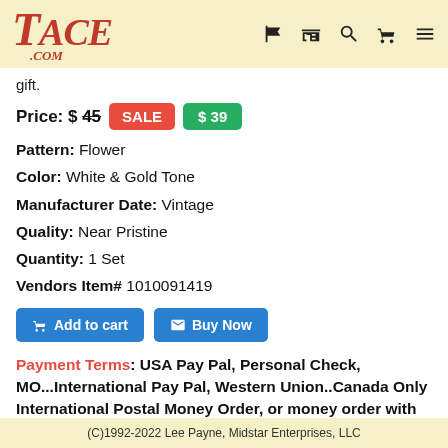TACE.COM
gift.
Price: $ 45 SALE $ 39
Pattern: Flower
Color: White & Gold Tone
Manufacturer Date: Vintage
Quality: Near Pristine
Quantity: 1 Set
Vendors Item# 1010091419
Payment Terms: USA Pay Pal, Personal Check, MO...International Pay Pal, Western Union..Canada Only International Postal Money Order, or money order with USD Funds from a bank with a US address, & Pay Pal.
(C)1992-2022 Lee Payne, Midstar Enterprises, LLC